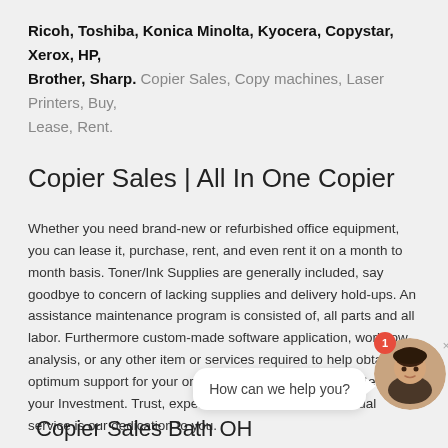Ricoh, Toshiba, Konica Minolta, Kyocera, Copystar, Xerox, HP, Brother, Sharp. Copier Sales, Copy machines, Laser Printers, Buy, Lease, Rent.
Copier Sales | All In One Copier
Whether you need brand-new or refurbished office equipment, you can lease it, purchase, rent, and even rent it on a month to month basis. Toner/Ink Supplies are generally included, say goodbye to concern of lacking supplies and delivery hold-ups. An assistance maintenance program is consisted of, all parts and all labor. Furthermore custom-made software application, workflow analysis, or any other item or services required to help obtain the optimum support for your organization to optimize your Return on your Investment. Trust, experience, and certified individual service is our dedication to you.
[Figure (infographic): Chat widget with speech bubble saying 'How can we help you?' and a circular avatar photo of a smiling woman with a red notification badge showing '1', and a close button 'x'.]
Copier Sales Bath OH